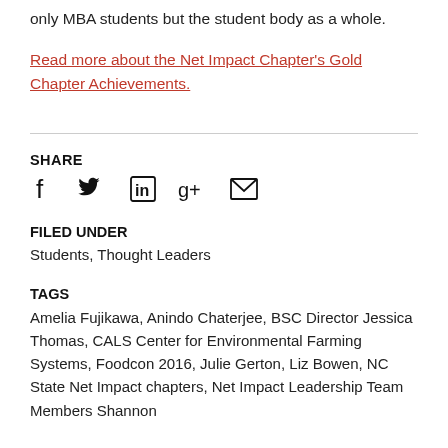only MBA students but the student body as a whole.
Read more about the Net Impact Chapter's Gold Chapter Achievements.
SHARE
FILED UNDER
Students, Thought Leaders
TAGS
Amelia Fujikawa, Anindo Chaterjee, BSC Director Jessica Thomas, CALS Center for Environmental Farming Systems, Foodcon 2016, Julie Gerton, Liz Bowen, NC State Net Impact chapters, Net Impact Leadership Team Members Shannon